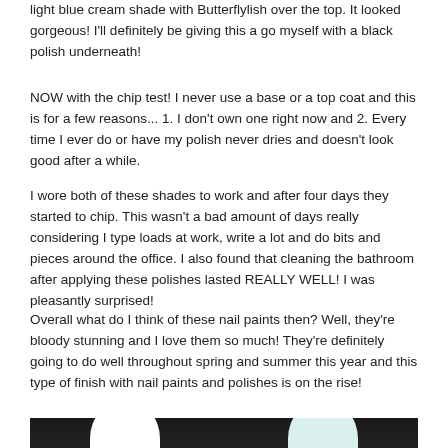light blue cream shade with Butterflylish over the top. It looked gorgeous! I'll definitely be giving this a go myself with a black polish underneath!
NOW with the chip test! I never use a base or a top coat and this is for a few reasons... 1. I don't own one right now and 2. Every time I ever do or have my polish never dries and doesn't look good after a while.
I wore both of these shades to work and after four days they started to chip. This wasn't a bad amount of days really considering I type loads at work, write a lot and do bits and pieces around the office. I also found that cleaning the bathroom after applying these polishes lasted REALLY WELL! I was pleasantly surprised!
Overall what do I think of these nail paints then? Well, they're bloody stunning and I love them so much! They're definitely going to do well throughout spring and summer this year and this type of finish with nail paints and polishes is on the rise!
[Figure (photo): Photo showing two nail polish bottles/nails against a dark background]